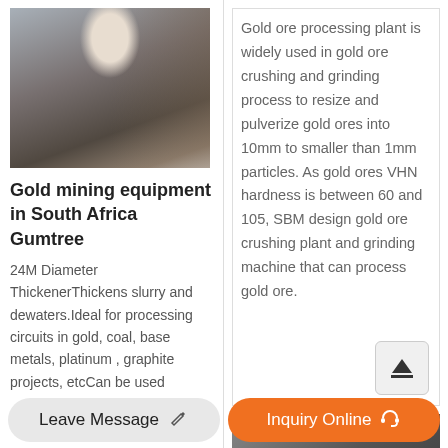[Figure (photo): Industrial gold mining equipment inside a processing facility, showing a cone crusher and conveyor belt structure]
Gold mining equipment in South Africa Gumtree
24M Diameter ThickenerThickens slurry and dewaters.Ideal for processing circuits in gold, coal, base metals, platinum , graphite projects, etcCan be used
Gold ore processing plant is widely used in gold ore crushing and grinding process to resize and pulverize gold ores into 10mm to smaller than 1mm particles. As gold ores VHN hardness is between 60 and 105, SBM design gold ore crushing plant and grinding machine that can process gold ore.
[Figure (photo): Partial view of gold ore processing machinery]
Leave Message
Inquiry Online